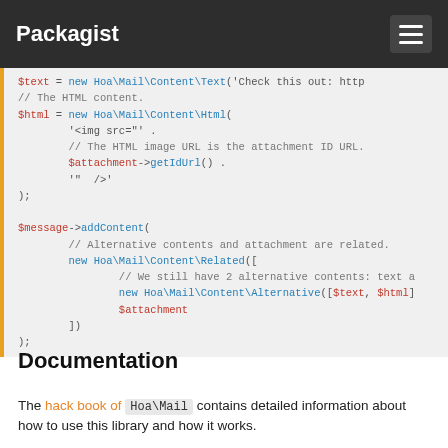Packagist
[Figure (screenshot): Code block showing PHP code for Hoa Mail content with text, HTML, attachment and addContent with Related and Alternative content classes]
Documentation
The hack book of Hoa\Mail contains detailed information about how to use this library and how it works.